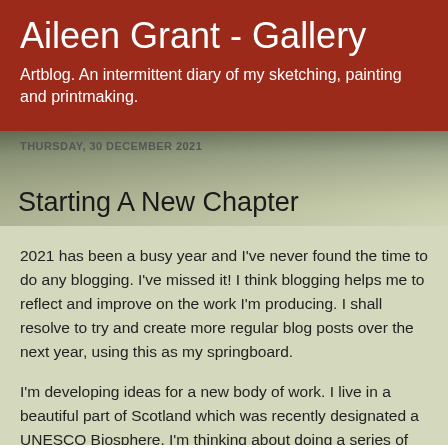Aileen Grant - Gallery
Artblog. An intermittent diary of my sketching, painting and printmaking.
THURSDAY, 30 DECEMBER 2021
Starting A New Chapter
2021 has been a busy year and I've never found the time to do any blogging. I've missed it! I think blogging helps me to reflect and improve on the work I'm producing. I shall resolve to try and create more regular blog posts over the next year, using this as my springboard.
I'm developing ideas for a new body of work. I live in a beautiful part of Scotland which was recently designated a UNESCO Biosphere. I'm thinking about doing a series of